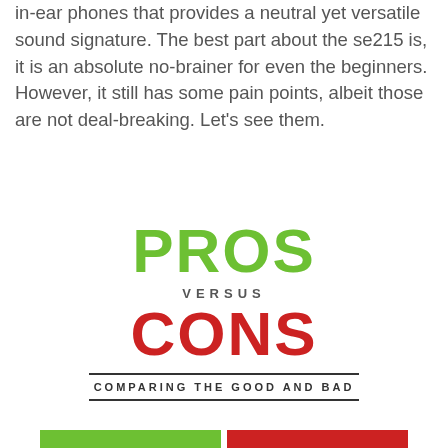in-ear phones that provides a neutral yet versatile sound signature. The best part about the se215 is, it is an absolute no-brainer for even the beginners. However, it still has some pain points, albeit those are not deal-breaking. Let's see them.
[Figure (infographic): Pros versus Cons infographic with 'PROS' in large green bold text, 'VERSUS' in small spaced caps, 'CONS' in large red bold text, horizontal divider lines, and 'COMPARING THE GOOD AND BAD' label. Bottom shows green and red bar sections.]